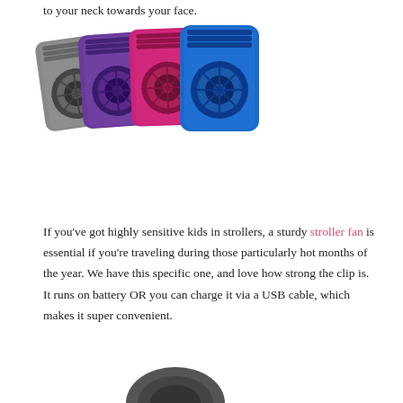to your neck towards your face.
[Figure (photo): Four portable clip-on fans in different colors: gray, purple, pink/magenta, and blue, arranged in a staggered diagonal row. Each fan is a small rectangular device with a circular fan grille on the front.]
If you've got highly sensitive kids in strollers, a sturdy stroller fan is essential if you're traveling during those particularly hot months of the year. We have this specific one, and love how strong the clip is. It runs on battery OR you can charge it via a USB cable, which makes it super convenient.
[Figure (photo): Partial view of another product at the bottom of the page, circular shape, dark colored.]